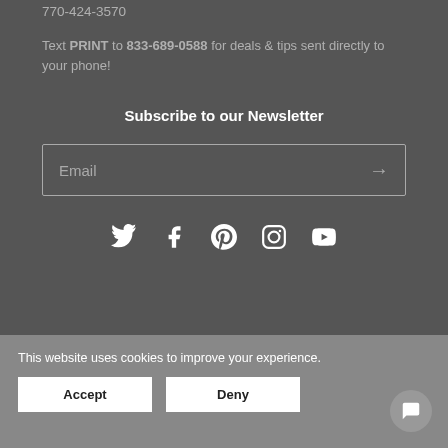770-424-3570
Text PRINT to 833-689-0588 for deals & tips sent directly to your phone!
Subscribe to our Newsletter
Email
[Figure (infographic): Social media icons: Twitter, Facebook, Pinterest, Instagram, YouTube]
This website uses cookies to improve your experience.
Accept
Deny